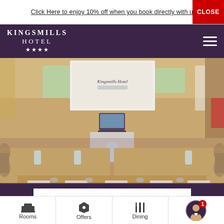Click Here to enjoy 10% off when you book directly with us   CLOSE
[Figure (logo): Kingsmills Hotel logo with four stars on dark purple navigation bar]
[Figure (photo): Conference room with U-shaped table arrangement, notepads and pens at each place, projector screen showing Kingsmills Hotel logo, laptop on central table, glassware and water pitchers, chairs along the outer sides, patterned carpet, wooden paneling in background]
CHECK AVAILABILITY
[Figure (infographic): Bottom navigation bar with three icons: bed icon labeled Rooms, tag icon labeled Offers, fork and knife icon labeled Dining, and a concierge chat avatar with notification badge showing 1]